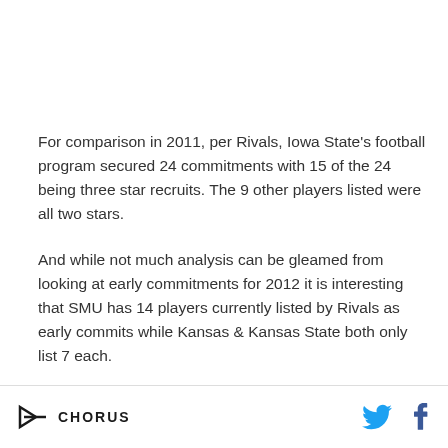For comparison in 2011, per Rivals, Iowa State's football program secured 24 commitments with 15 of the 24 being three star recruits. The 9 other players listed were all two stars.
And while not much analysis can be gleamed from looking at early commitments for 2012 it is interesting that SMU has 14 players currently listed by Rivals as early commits while Kansas & Kansas State both only list 7 each.
CHORUS